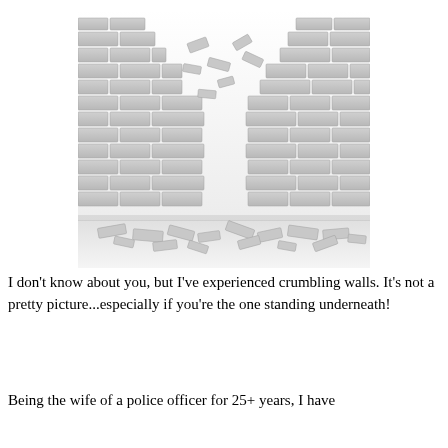[Figure (illustration): Black and white 3D rendered image of a brick wall with a large gap blown out of the center top, with bricks falling and scattered on the ground below.]
I don't know about you, but I've experienced crumbling walls. It's not a pretty picture...especially if you're the one standing underneath!
Being the wife of a police officer for 25+ years, I have